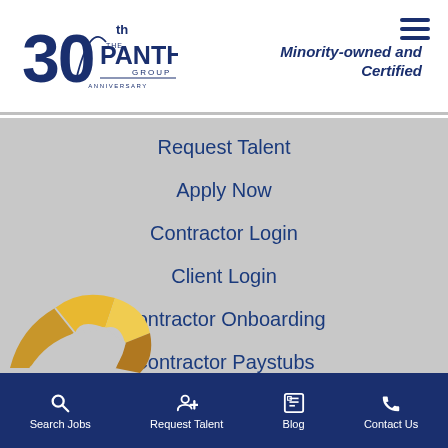[Figure (logo): The Panther Group 30th Anniversary logo in navy blue]
Minority-owned and Certified
Request Talent
Apply Now
Contractor Login
Client Login
Contractor Onboarding
Contractor Paystubs
[Figure (illustration): Gold geometric panther head icon, lower left]
Search Jobs   Request Talent   Blog   Contact Us